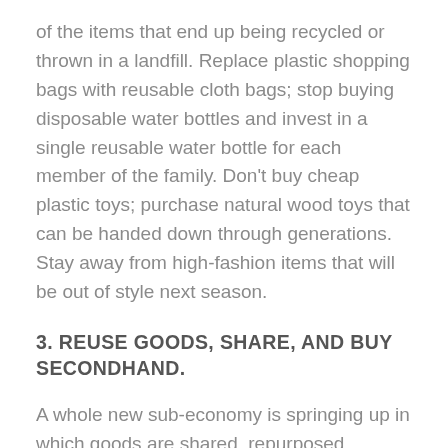of the items that end up being recycled or thrown in a landfill. Replace plastic shopping bags with reusable cloth bags; stop buying disposable water bottles and invest in a single reusable water bottle for each member of the family. Don't buy cheap plastic toys; purchase natural wood toys that can be handed down through generations. Stay away from high-fashion items that will be out of style next season.
3. REUSE GOODS, SHARE, AND BUY SECONDHAND.
A whole new sub-economy is springing up in which goods are shared, repurposed, repaired, and used again. The Buy Nothing New movement is one example of a group of people dedicated to reaching zero waste, improving the quality of their lives, simplifying their homes, and reducing environmental impact. Find clothes at vintage stores, GoodWill,